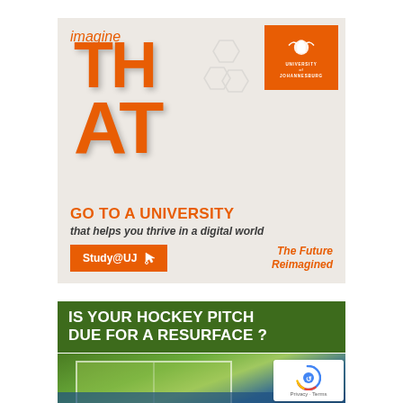[Figure (illustration): University of Johannesburg advertisement. Shows 'imagine' text in orange italic, large orange block letters spelling THAT with 3D effect, UJ logo in orange box top right, text 'GO TO A UNIVERSITY that helps you thrive in a digital world', orange Study@UJ button with cursor icon, and 'The Future Reimagined' text in orange italic.]
[Figure (photo): Advertisement banner with dark green background showing 'IS YOUR HOCKEY PITCH DUE FOR A RESURFACE?' in white bold uppercase text, below which is an aerial photograph of a hockey pitch with blue and green field markings. A Google reCAPTCHA badge with 'Privacy - Terms' text is visible in the bottom right corner.]